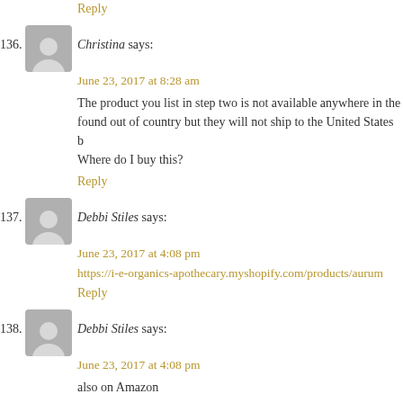Reply
136. Christina says:
June 23, 2017 at 8:28 am
The product you list in step two is not available anywhere in the found out of country but they will not ship to the United States b Where do I buy this?
Reply
137. Debbi Stiles says:
June 23, 2017 at 4:08 pm
https://i-e-organics-apothecary.myshopify.com/products/aurum
Reply
138. Debbi Stiles says:
June 23, 2017 at 4:08 pm
also on Amazon
Reply